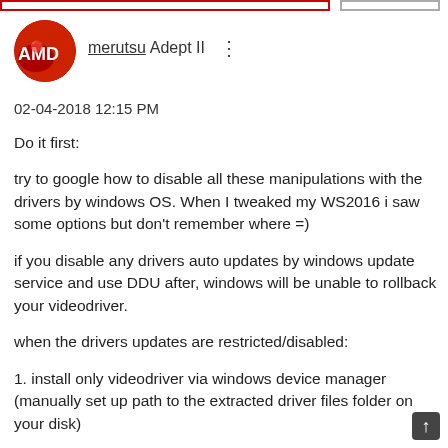[Figure (photo): AMD logo avatar circle photo, red background with AMD text]
merutsuAdept II  ⋮
02-04-2018 12:15 PM
Do it first:
try to google how to disable all these manipulations with the drivers by windows OS. When I tweaked my WS2016 i saw some options but don't remember where =)
if you disable any drivers auto updates by windows update service and use DDU after, windows will be unable to rollback your videodriver.
when the drivers updates are restricted/disabled:
1. install only videodriver via windows device manager (manually set up path to the extracted driver files folder on your disk)